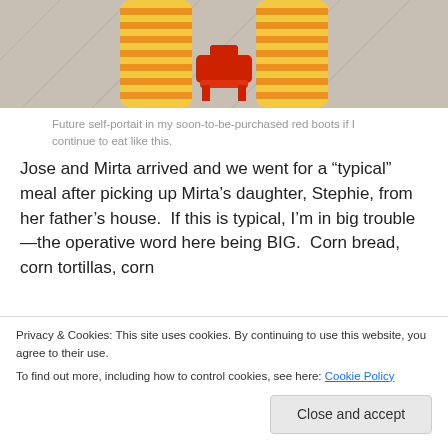[Figure (photo): Photo showing yellow and orange striped stockinged legs and a red decorative item, viewed from above on a light background.]
Future self-portait in my soon-to-be-purchased red boots if I continue to eat like this.
Jose and Mirta arrived and we went for a “typical” meal after picking up Mirta’s daughter, Stephie, from her father’s house.  If this is typical, I’m in big trouble—the operative word here being BIG.  Corn bread, corn tortillas, corn
apartments in a square around the main house.  There will
Privacy & Cookies: This site uses cookies. By continuing to use this website, you agree to their use.
To find out more, including how to control cookies, see here: Cookie Policy